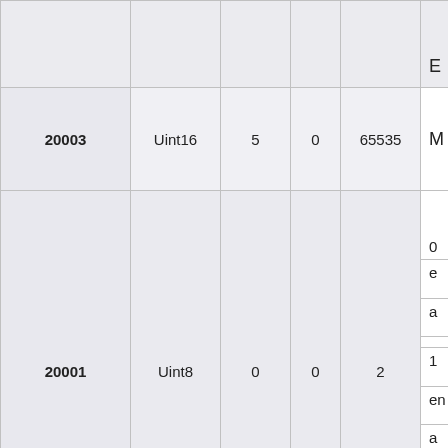| ID | Type | Col3 | Col4 | Col5 | E... |
| --- | --- | --- | --- | --- | --- |
|  |  |  |  |  | E |
| 20003 | Uint16 | 5 | 0 | 65535 | M |
| 20001 | Uint8 | 0 | 0 | 2 | 0
e
a
1
en
a
2
l |
|  |  |  |  |  | P
vo |